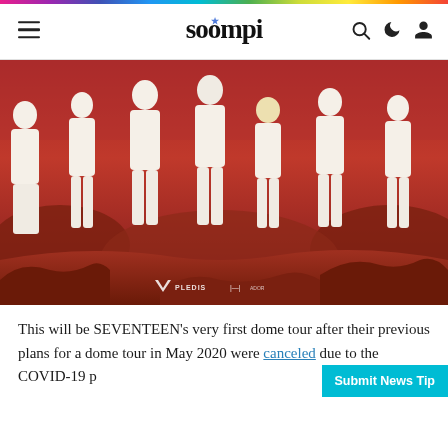soompi
[Figure (photo): Group photo of SEVENTEEN members dressed in white outfits posing on a Mars-like red rocky landscape with an orange-red background. Watermark shows PLEDIS logo.]
This will be SEVENTEEN's very first dome tour after their previous plans for a dome tour in May 2020 were canceled due to the COVID-19 p